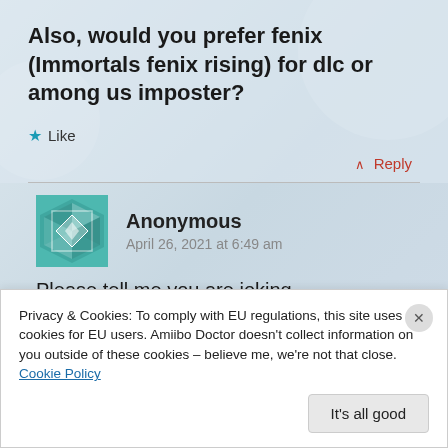Also, would you prefer fenix (Immortals fenix rising) for dlc or among us imposter?
Like
Reply
Anonymous
April 26, 2021 at 6:49 am
Please tell me you are joking ...
Privacy & Cookies: To comply with EU regulations, this site uses cookies for EU users. Amiibo Doctor doesn't collect information on you outside of these cookies – believe me, we're not that close.
Cookie Policy
It's all good